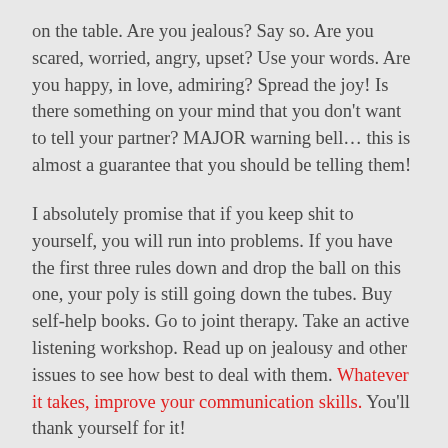on the table. Are you jealous? Say so. Are you scared, worried, angry, upset? Use your words. Are you happy, in love, admiring? Spread the joy! Is there something on your mind that you don't want to tell your partner? MAJOR warning bell… this is almost a guarantee that you should be telling them!
I absolutely promise that if you keep shit to yourself, you will run into problems. If you have the first three rules down and drop the ball on this one, your poly is still going down the tubes. Buy self-help books. Go to joint therapy. Take an active listening workshop. Read up on jealousy and other issues to see how best to deal with them. Whatever it takes, improve your communication skills. You'll thank yourself for it!
5. Know what you want. Here's another list of